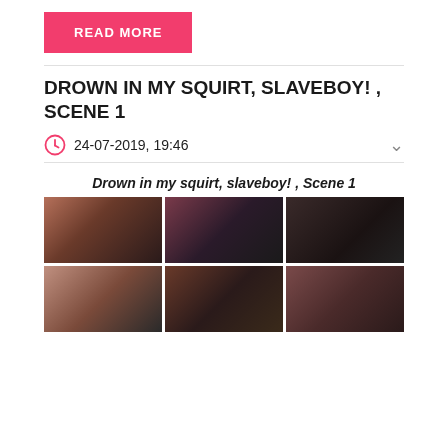READ MORE
DROWN IN MY SQUIRT, SLAVEBOY! , SCENE 1
24-07-2019, 19:46
Drown in my squirt, slaveboy! , Scene 1
[Figure (photo): Gallery of 6 thumbnail images arranged in a 3x2 grid showing scenes from the video]